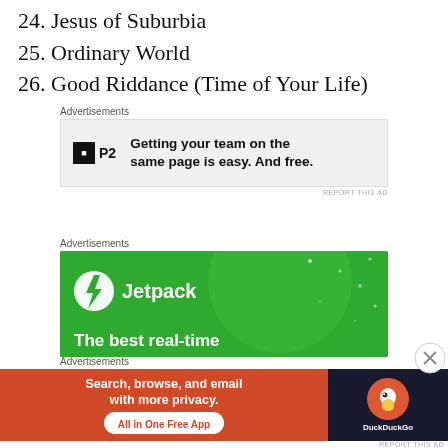24. Jesus of Suburbia
25. Ordinary World
26. Good Riddance (Time of Your Life)
[Figure (other): P2 advertisement: Getting your team on the same page is easy. And free.]
[Figure (other): Jetpack advertisement with green background showing lightning bolt logo and partial text 'The best real-time']
[Figure (other): DuckDuckGo advertisement: Search, browse, and email with more privacy. All in One Free App]